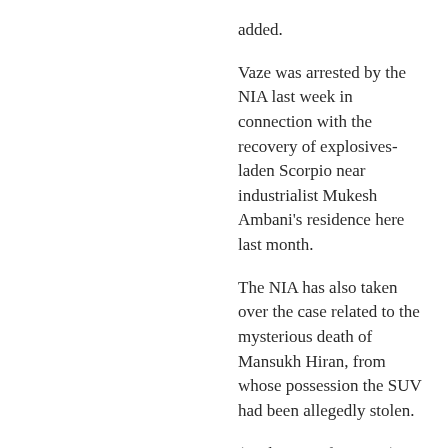added.
Vaze was arrested by the NIA last week in connection with the recovery of explosives-laden Scorpio near industrialist Mukesh Ambani's residence here last month.
The NIA has also taken over the case related to the mysterious death of Mansukh Hiran, from whose possession the SUV had been allegedly stolen.
(With inputs from PTI)